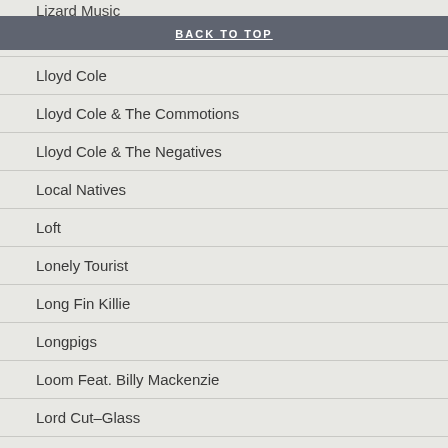Lizard Music
BACK TO TOP
Lloyd Cole
Lloyd Cole & The Commotions
Lloyd Cole & The Negatives
Local Natives
Loft
Lonely Tourist
Long Fin Killie
Longpigs
Loom Feat. Billy Mackenzie
Lord Cut-Glass
Lori & The Chameleons
Lost!